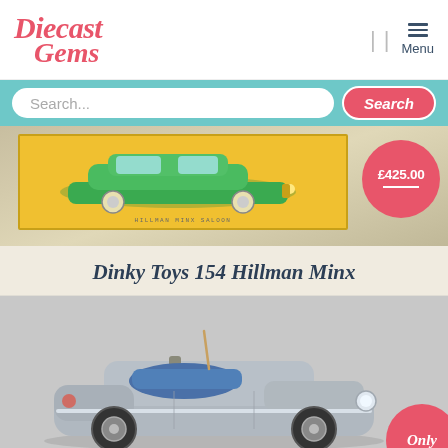[Figure (logo): Diecast Gems logo in red italic script]
[Figure (screenshot): Navigation icons including separator bars and hamburger menu with 'Menu' label]
[Figure (screenshot): Teal search bar with white search input field and pink Search button]
[Figure (photo): Product photo of Dinky Toys 154 Hillman Minx in yellow box, with pink price badge showing £425.00]
Dinky Toys 154 Hillman Minx
[Figure (photo): Silver diecast toy car (open-top roadster) on grey background, with partial pink 'Only' badge in bottom-right corner]